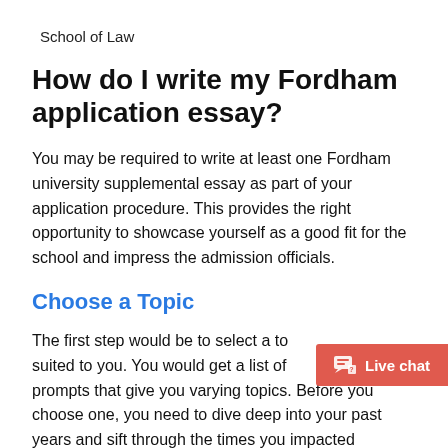School of Law
How do I write my Fordham application essay?
You may be required to write at least one Fordham university supplemental essay as part of your application procedure. This provides the right opportunity to showcase yourself as a good fit for the school and impress the admission officials.
Choose a Topic
The first step would be to select a topic best suited to you. You would get a list of prompts that give you varying topics. Before you choose one, you need to dive deep into your past years and sift through the times you impacted